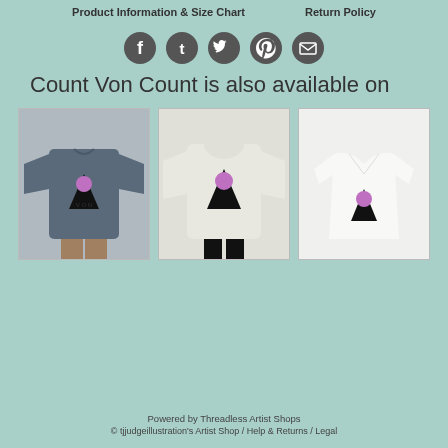Product Information & Size Chart   Return Policy
[Figure (infographic): Row of 5 social media icon circles: Facebook, Tumblr, Twitter, Pinterest, Email]
Count Von Count is also available on
[Figure (photo): Three product photos side by side: a blue long-sleeve shirt, a white hoodie (back view), and a white v-neck t-shirt, each with Count Von Count artwork]
Powered by Threadless Artist Shops
© tjjudgeillustration's Artist Shop /  Help & Returns /  Legal